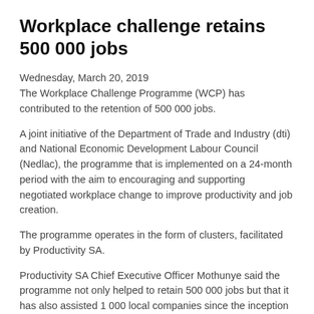Workplace challenge retains 500 000 jobs
Wednesday, March 20, 2019
The Workplace Challenge Programme (WCP) has contributed to the retention of 500 000 jobs.
A joint initiative of the Department of Trade and Industry (dti) and National Economic Development Labour Council (Nedlac), the programme that is implemented on a 24-month period with the aim to encouraging and supporting negotiated workplace change to improve productivity and job creation.
The programme operates in the form of clusters, facilitated by Productivity SA.
Productivity SA Chief Executive Officer Mothunye said the programme not only helped to retain 500 000 jobs but that it has also assisted 1 000 local companies since the inception of the entity.